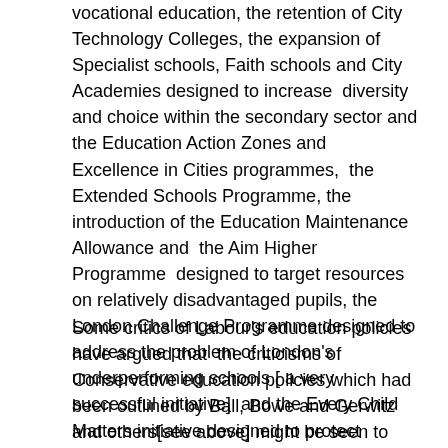vocational education, the retention of City Technology Colleges, the expansion of Specialist schools, Faith schools and City Academies designed to increase diversity and choice within the secondary sector and the Education Action Zones and Excellence in Cities programmes, the Extended Schools Programme, the introduction of the Education Maintenance Allowance and the Aim Higher Programme designed to target resources on relatively disadvantaged pupils, the London Challenge Programme designed to address the problem of London's underperforming schools [ a very successful initiative] and the Every Child Matters initiative designed to protect children who might be at risk. However Labour have also continued the process begun by the Conservatives whereby loans and fees have increasingly replaced grants in the financing of Higher Education.
Some critics of Labour's education policies have argued that the criticisms of Conservative education policies which had been outlined by Ball, Bowe and Gerwitz and others[see above] might be seen to apply equally to Labour's Choice and Diversity agenda. They claimed also that Labour adopted an